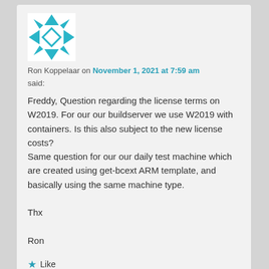[Figure (illustration): Avatar image: teal/cyan geometric snowflake-like pattern on white background]
Ron Koppelaar on November 1, 2021 at 7:59 am
said:
Freddy, Question regarding the license terms on W2019. For our our buildserver we use W2019 with containers. Is this also subject to the new license costs?
Same question for our our daily test machine which are created using get-bcext ARM template, and basically using the same machine type.

Thx

Ron
★ Like
Reply ↓